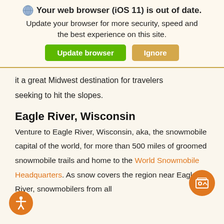Your web browser (iOS 11) is out of date.
Update your browser for more security, speed and the best experience on this site.
Update browser | Ignore
it a great Midwest destination for travelers seeking to hit the slopes.
Eagle River, Wisconsin
Venture to Eagle River, Wisconsin, aka, the snowmobile capital of the world, for more than 500 miles of groomed snowmobile trails and home to the World Snowmobile Headquarters. As snow covers the region near Eagle River, snowmobilers from all